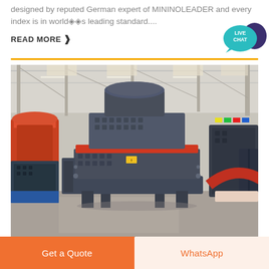designed by reputed German expert of MININOLEADER and every index is in world's leading standard....
READ MORE ›
[Figure (photo): Industrial mining/crushing machine (cone crusher or VSI crusher) in a large factory/exhibition hall. The machine is dark grey with a red accent ring, standing on a concrete floor. Other heavy machinery visible in the background, along with colorful flags. Factory has steel truss ceiling with skylights.]
Get a Quote
WhatsApp